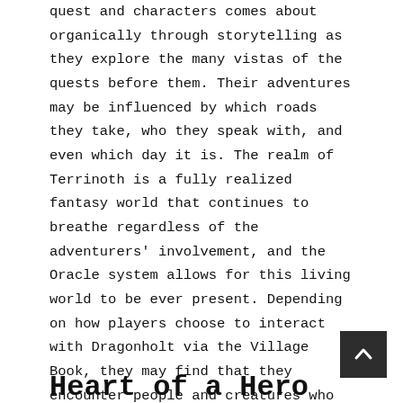quest and characters comes about organically through storytelling as they explore the many vistas of the quests before them. Their adventures may be influenced by which roads they take, who they speak with, and even which day it is. The realm of Terrinoth is a fully realized fantasy world that continues to breathe regardless of the adventurers' involvement, and the Oracle system allows for this living world to be ever present. Depending on how players choose to interact with Dragonholt via the Village Book, they may find that they encounter people and creatures who directly influence their quest, or they may never meet them at all.
Heart of a Hero